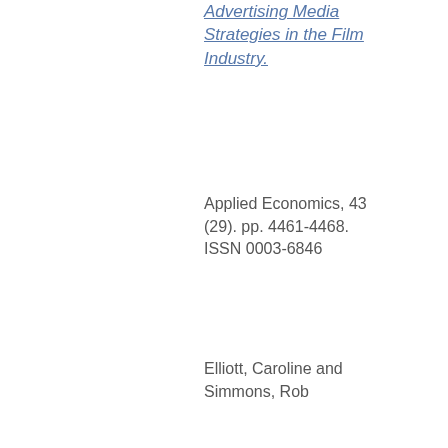Advertising Media Strategies in the Film Industry.
Applied Economics, 43 (29). pp. 4461-4468. ISSN 0003-6846
Elliott, Caroline and Simmons, Rob